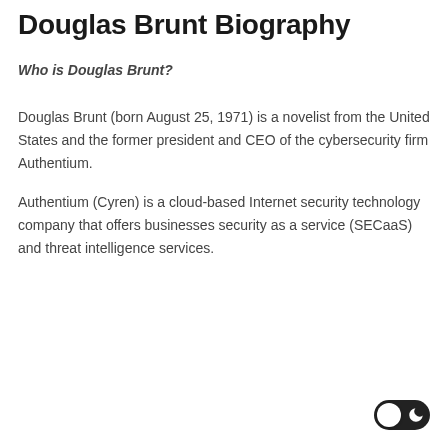Douglas Brunt Biography
Who is Douglas Brunt?
Douglas Brunt (born August 25, 1971) is a novelist from the United States and the former president and CEO of the cybersecurity firm Authentium.
Authentium (Cyren) is a cloud-based Internet security technology company that offers businesses security as a service (SECaaS) and threat intelligence services.